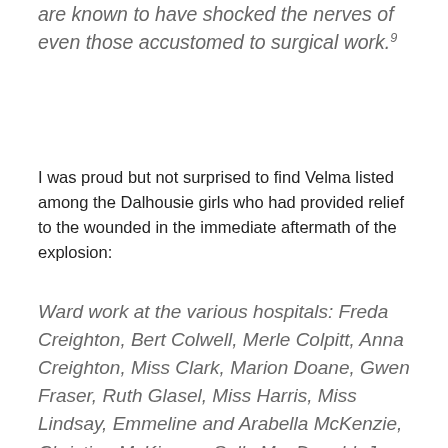are known to have shocked the nerves of even those accustomed to surgical work.9
I was proud but not surprised to find Velma listed among the Dalhousie girls who had provided relief to the wounded in the immediate aftermath of the explosion:
Ward work at the various hospitals: Freda Creighton, Bert Colwell, Merle Colpitt, Anna Creighton, Miss Clark, Marion Doane, Gwen Fraser, Ruth Glasel, Miss Harris, Miss Lindsay, Emmeline and Arabella McKenzie, Christine McKinnon, Sally MacDonald, Jean